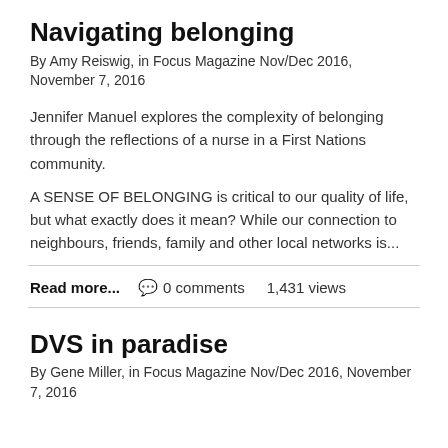Navigating belonging
By Amy Reiswig, in Focus Magazine Nov/Dec 2016, November 7, 2016
Jennifer Manuel explores the complexity of belonging through the reflections of a nurse in a First Nations community.
A SENSE OF BELONGING is critical to our quality of life, but what exactly does it mean? While our connection to neighbours, friends, family and other local networks is...
Read more...   0 comments   1,431 views
DVS in paradise
By Gene Miller, in Focus Magazine Nov/Dec 2016, November 7, 2016